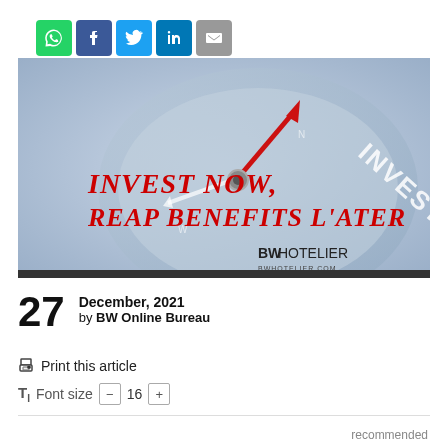[Figure (other): Social media sharing icons row: WhatsApp (green), Facebook (blue), Twitter (light blue), LinkedIn (dark blue), Email (grey)]
[Figure (photo): Hero image showing a compass pointing upward labeled INVESTMENT with bold red italic text reading INVEST NOW, REAP BENEFITS LATER, and BW HOTELIER logo in bottom right]
27 December, 2021 by BW Online Bureau
Print this article
Font size  16
recommended